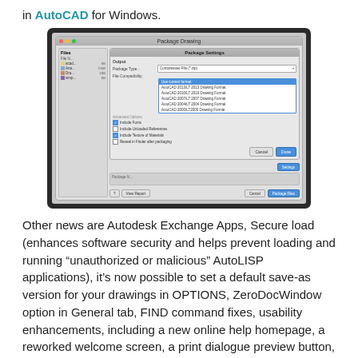in AutoCAD for Windows.
[Figure (screenshot): Screenshot of AutoCAD for Mac Package Drawing dialog with Package Settings subdialog open, showing File Compatibility dropdown with options: Use current format, AutoCAD 2013/LT 2013 Drawing Format, AutoCAD 2010/LT 2010 Drawing Format, AutoCAD 2007/LT 2007 Drawing Format, AutoCAD 2004/LT 2004 Drawing Format, AutoCAD 2000/LT2000 Drawing Format. Advanced Options checkboxes include Include Fonts (checked), Include Unloaded References (unchecked), Include Texture of Materials (checked), Reveal in Finder after packaging (unchecked). Buttons: Cancel and Done (blue).]
Other news are Autodesk Exchange Apps, Secure load (enhances software security and helps prevent loading and running “unauthorized or malicious” AutoLISP applications), it’s now possible to set a default save-as version for your drawings in OPTIONS, ZeroDocWindow option in General tab, FIND command fixes, usability enhancements, including a new online help homepage, a reworked welcome screen, a print dialogue preview button, detailed print dialog panel